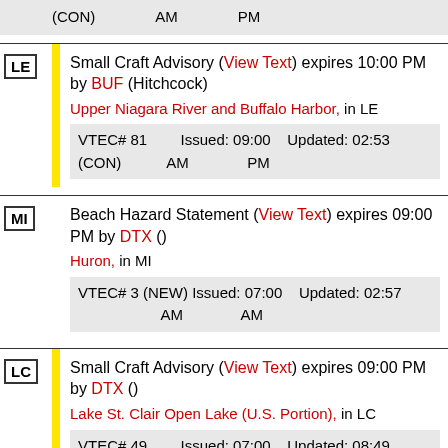(CON)    AM    PM
LE - Small Craft Advisory (View Text) expires 10:00 PM by BUF (Hitchcock) - Upper Niagara River and Buffalo Harbor, in LE. VTEC# 81 (CON) Issued: 09:00 AM Updated: 02:53 PM
MI - Beach Hazard Statement (View Text) expires 09:00 PM by DTX () - Huron, in MI. VTEC# 3 (NEW) Issued: 07:00 AM Updated: 02:57 AM
LC - Small Craft Advisory (View Text) expires 09:00 PM by DTX () - Lake St. Clair Open Lake (U.S. Portion), in LC. VTEC# 49 Issued: 07:00 Updated: 08:49